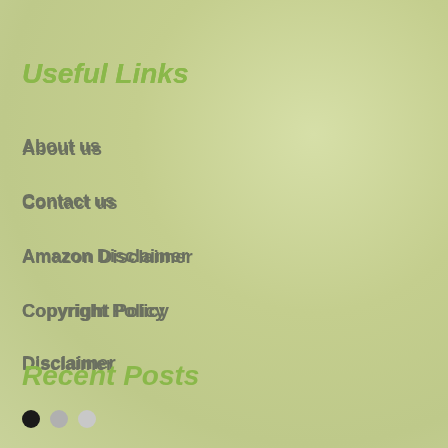Useful Links
About us
Contact us
Amazon Disclaimer
Copyright Policy
Disclaimer
Terms and Conditions
Privacy Policy
Sitemap
Recent Posts
[Figure (other): Three navigation dots: one black (active), two gray]